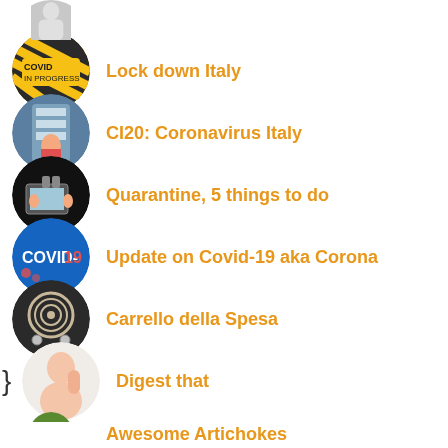Lock down Italy
CI20: Coronavirus Italy
Quarantine, 5 things to do
Update on Covid-19 aka Corona
Carrello della Spesa
Digest that
Awesome Artichokes